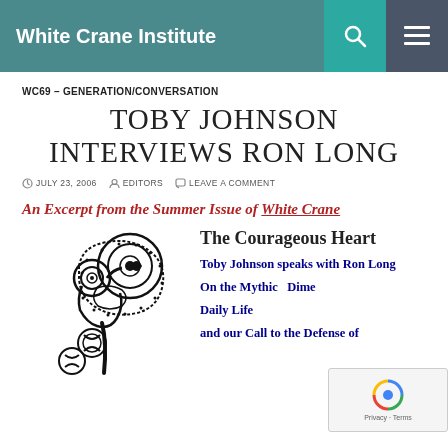White Crane Institute
WC69 - GENERATION/CONVERSATION
TOBY JOHNSON INTERVIEWS RON LONG
JULY 23, 2006  EDITORS  LEAVE A COMMENT
An Excerpt from the Summer Issue of White Crane
[Figure (illustration): Black and white illustration of a decorative Viking/Norse Thor's hammer (Mjolnir) with intricate Celtic knotwork and swirl patterns]
The Courageous Heart
Toby Johnson speaks with Ron Long
On the Mythic Dimensions of Daily Life
and our Call to the Defense of